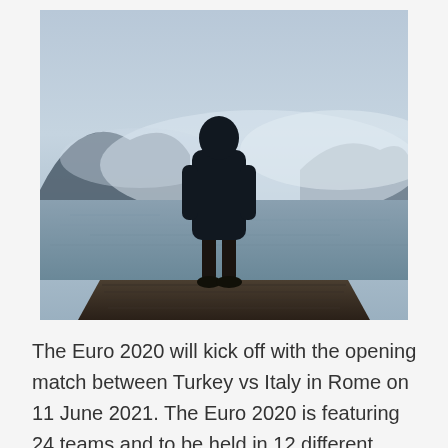[Figure (photo): Silhouette of a person standing on a wooden dock or platform, viewed from behind, looking out over a misty lake or fjord with mountains in the background. The scene is moody and atmospheric with fog and muted blue-grey tones.]
The Euro 2020 will kick off with the opening match between Turkey vs Italy in Rome on 11 June 2021. The Euro 2020 is featuring 24 teams and to be held in 12 different venues across the continent. Euro 2020 teams